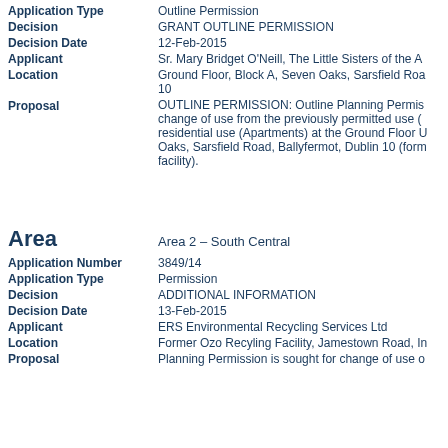Application Type: Outline Permission
Decision: GRANT OUTLINE PERMISSION
Decision Date: 12-Feb-2015
Applicant: Sr. Mary Bridget O'Neill, The Little Sisters of the A...
Location: Ground Floor, Block A, Seven Oaks, Sarsfield Roa... 10
Proposal: OUTLINE PERMISSION: Outline Planning Permis... change of use from the previously permitted use (... residential use (Apartments) at the Ground Floor U... Oaks, Sarsfield Road, Ballyfermot, Dublin 10 (form... facility).
Area
Area: Area 2 – South Central
Application Number: 3849/14
Application Type: Permission
Decision: ADDITIONAL INFORMATION
Decision Date: 13-Feb-2015
Applicant: ERS Environmental Recycling Services Ltd
Location: Former Ozo Recyling Facility, Jamestown Road, In...
Proposal: Planning Permission is sought for change of use o...